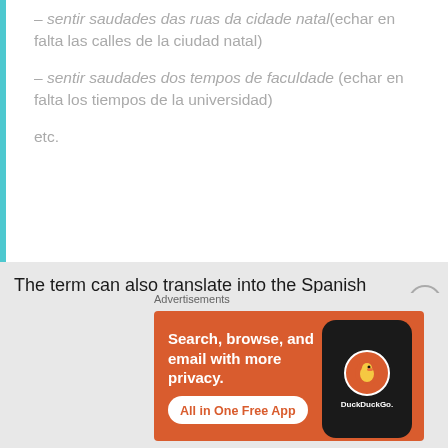– sentir saudades das ruas da cidade natal (echar en falta las calles de la ciudad natal)
– sentir saudades dos tempos de faculdade (echar en falta los tiempos de la universidad)
etc.
The term can also translate into the Spanish expression echar de menos, or extrañar—roughly equivalent to the Portuguese ter saudades:
[Figure (screenshot): DuckDuckGo advertisement banner with orange background. Text: Search, browse, and email with more privacy. All in One Free App. Shows a phone with DuckDuckGo logo.]